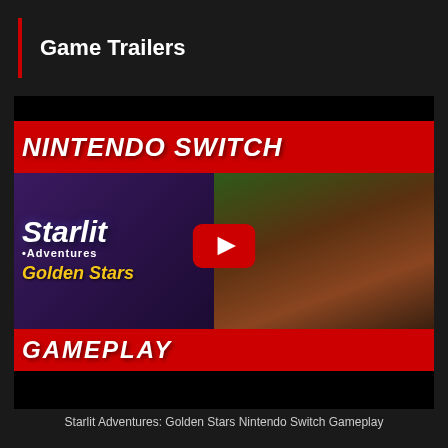Game Trailers
[Figure (screenshot): YouTube video thumbnail for 'Starlit Adventures: Golden Stars Nintendo Switch Gameplay' showing Nintendo Switch branding, game logo with 'Starlit Adventures Golden Stars' text, gameplay characters, red YouTube play button, and GAMEPLAY text banner. Video player with black bars top and bottom.]
Starlit Adventures: Golden Stars Nintendo Switch Gameplay